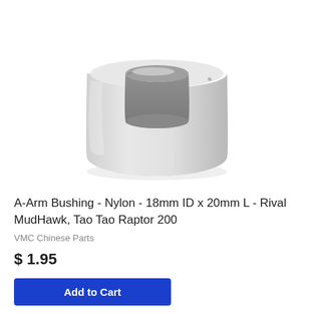[Figure (photo): A white nylon cylindrical bushing (sleeve/spacer) with a large central bore, viewed from above at a slight angle. The bushing is wider at the bottom and has a flanged or tapered shape. The object is white/off-white plastic on a white background.]
A-Arm Bushing - Nylon - 18mm ID x 20mm L - Rival MudHawk, Tao Tao Raptor 200
VMC Chinese Parts
$ 1.95
Add to Cart